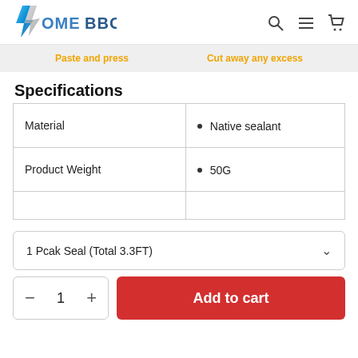HomeBBC
[Figure (screenshot): HomeBBC logo with stylized blue and silver 'H' bolt icon followed by 'OMEBBC' in bold blue-gray text]
Paste and press   Cut away any excess
Specifications
|  |  |
| --- | --- |
| Material | • Native sealant |
| Product Weight | • 50G |
|  |  |
1 Pcak Seal (Total 3.3FT)
1   Add to cart